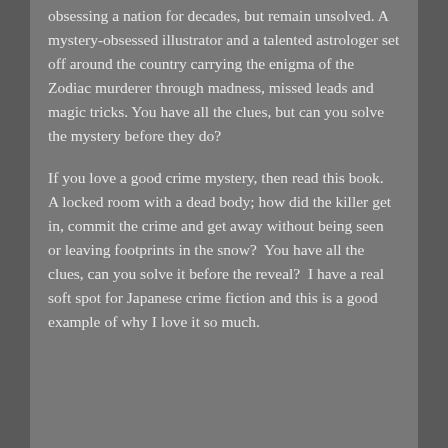obsessing a nation for decades, but remain unsolved. A mystery-obsessed illustrator and a talented astrologer set off around the country carrying the enigma of the Zodiac murderer through madness, missed leads and magic tricks. You have all the clues, but can you solve the mystery before they do?
If you love a good crime mystery, then read this book. A locked room with a dead body; how did the killer get in, commit the crime and get away without being seen or leaving footprints in the snow? You have all the clues, can you solve it before the reveal? I have a real soft spot for Japanese crime fiction and this is a good example of why I love it so much.